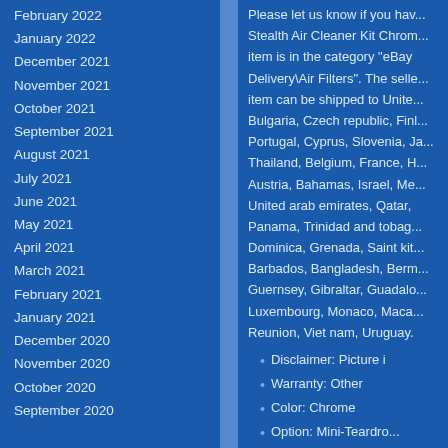February 2022
January 2022
December 2021
November 2021
October 2021
September 2021
August 2021
July 2021
June 2021
May 2021
April 2021
March 2021
February 2021
January 2021
December 2020
November 2020
October 2020
September 2020
Please let us know if you hav... Stealth Air Cleaner Kit Chrom... item is in the category "eBay Delivery\Air Filters". The selle... item can be shipped to Unite... Bulgaria, Czech republic, Finl... Portugal, Cyprus, Slovenia, Ja... Thailand, Belgium, France, H... Austria, Bahamas, Israel, Me... United arab emirates, Qatar, Panama, Trinidad and tobag... Dominica, Grenada, Saint kit... Barbados, Bangladesh, Berm... Guernsey, Gibraltar, Guadalo... Luxembourg, Monaco, Maca... Reunion, Viet nam, Uruguay.
Disclaimer: Picture i
Warranty: Other
Color: Chrome
Option: Mini-Teardro...